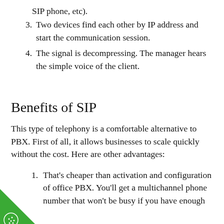SIP phone, etc).
Two devices find each other by IP address and start the communication session.
The signal is decompressing. The manager hears the simple voice of the client.
Benefits of SIP
This type of telephony is a comfortable alternative to PBX. First of all, it allows businesses to scale quickly without the cost. Here are other advantages:
That's cheaper than activation and configuration of office PBX. You'll get a multichannel phone number that won't be busy if you have enough channels. No more worries about the number of